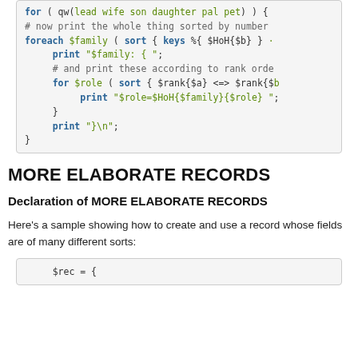[Figure (screenshot): Code block showing Perl code: for loop with qw(lead wife son daughter pal pet), comment about sorting by number, foreach $family sort block, print statements, nested for $role sort block, print $role=$HoH statements, closing braces]
MORE ELABORATE RECORDS
Declaration of MORE ELABORATE RECORDS
Here's a sample showing how to create and use a record whose fields are of many different sorts:
[Figure (screenshot): Code block showing beginning of Perl record: $rec = {]